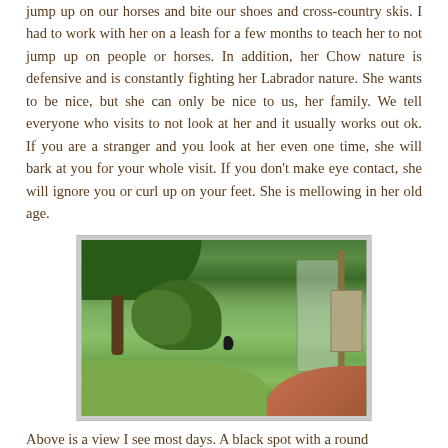jump up on our horses and bite our shoes and cross-country skis. I had to work with her on a leash for a few months to teach her to not jump up on people or horses. In addition, her Chow nature is defensive and is constantly fighting her Labrador nature. She wants to be nice, but she can only be nice to us, her family. We tell everyone who visits to not look at her and it usually works out ok. If you are a stranger and you look at her even one time, she will bark at you for your whole visit. If you don't make eye contact, she will ignore you or curl up on your feet. She is mellowing in her old age.
[Figure (photo): Outdoor scene showing a grassy yard with trees, a chain-link fence or kennel structure on the right, a red/brown path, and what appears to be a small dark dog in the middle distance.]
Above is a view I see most days. A black spot with a round